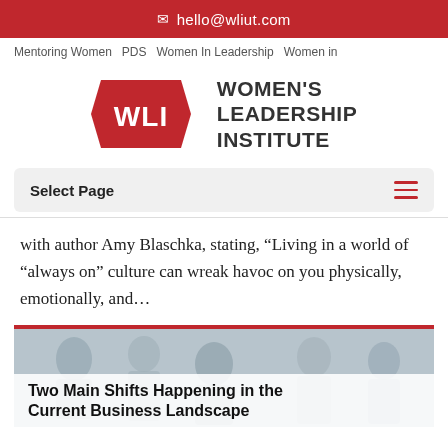hello@wliut.com
Mentoring Women  PDS  Women In Leadership  Women in
[Figure (logo): Women's Leadership Institute logo with red hexagonal WLI badge and bold text reading WOMEN'S LEADERSHIP INSTITUTE]
Select Page
with author Amy Blaschka, stating, “Living in a world of “always on” culture can wreak havoc on you physically, emotionally, and…
[Figure (photo): Photo of people in a meeting or conference room, viewed from behind, with a red top border]
Two Main Shifts Happening in the Current Business Landscape